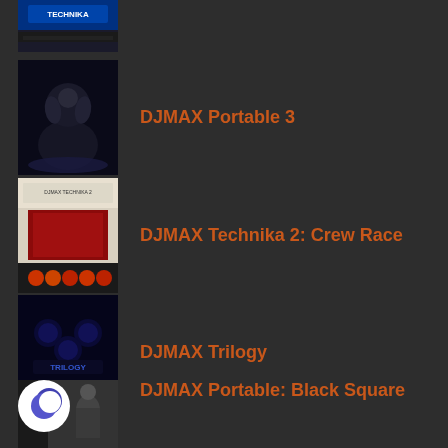[Figure (screenshot): Partial thumbnail of DJMAX Technika game cover at top of page, partially cropped]
DJMAX Portable 3
DJMAX Technika 2: Crew Race
DJMAX Trilogy
DJMAX Portable: Black Square